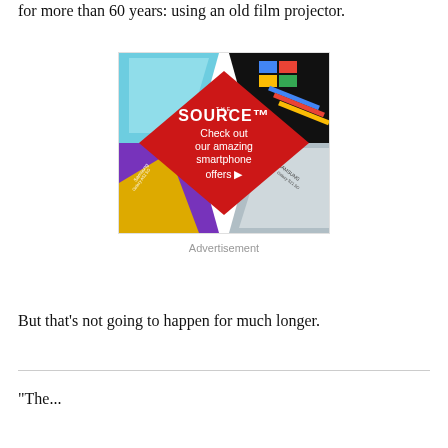for more than 60 years: using an old film projector.
[Figure (illustration): Advertisement for The Source showing smartphones arranged around a red diamond shape with text 'Check out our amazing smartphone offers']
Advertisement
But that's not going to happen for much longer.
"The...